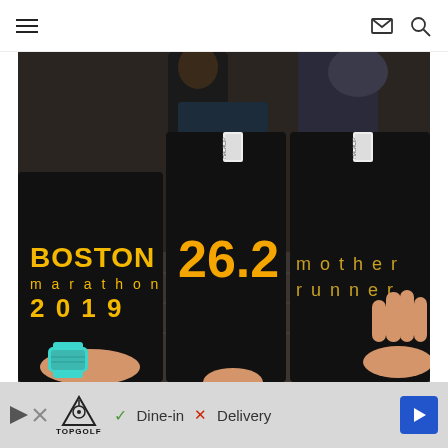navigation header with hamburger menu, mail icon, and search icon
[Figure (photo): Three people holding black folded running shirts/gear. Left shirt reads 'BOSTON marathon 2019' in yellow text, center shirt shows '26.2' in yellow, right shirt reads 'mother runner' in gold text. Tags visible on the shirts. Person on left wears a teal/mint fitness watch. Background shows a hotel lobby or event space floor.]
[Figure (infographic): Advertisement banner for Topgolf showing logo with check mark 'Dine-in', X mark 'Delivery', and a blue navigation arrow icon on the right.]